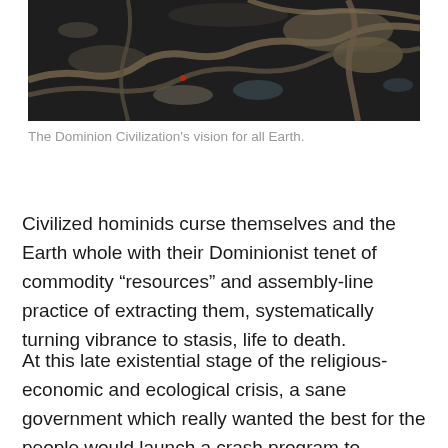[Figure (photo): Aerial photograph of a large open-pit mining or oil sands extraction site showing dark disturbed earth, winding roads, and excavated terrain.]
The Dominion Civilization’s vision for all Earth.
Civilized hominids curse themselves and the Earth whole with their Dominionist tenet of commodity “resources” and assembly-line practice of extracting them, systematically turning vibrance to stasis, life to death.
At this late existential stage of the religious-economic and ecological crisis, a sane government which really wanted the best for the people would launch a crash program to